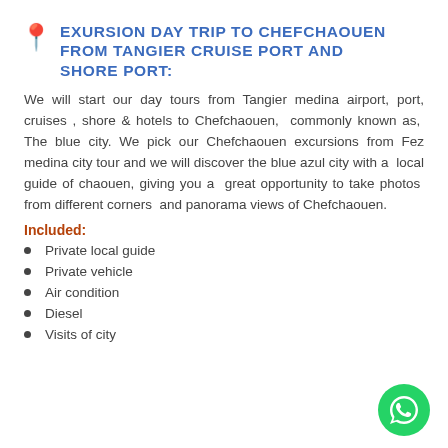EXURSION DAY TRIP TO CHEFCHAOUEN FROM TANGIER CRUISE PORT AND SHORE PORT:
We will start our day tours from Tangier medina airport, port, cruises , shore & hotels to Chefchaouen,  commonly known as,  The blue city. We pick our Chefchaouen excursions from Fez medina city tour and we will discover the blue azul city with a  local guide of chaouen, giving you a great opportunity to take photos from different corners and panorama views of Chefchaouen.
Included:
Private local guide
Private vehicle
Air condition
Diesel
Visits of city
[Figure (logo): WhatsApp green circular button icon]